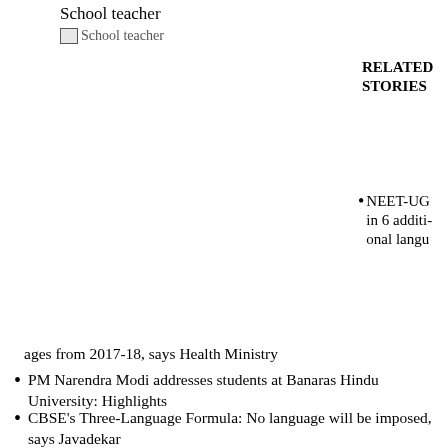School teacher
[Figure (photo): Broken image placeholder labeled 'School teacher']
RELATED STORIES
NEET-UG in 6 additional languages from 2017-18, says Health Ministry
PM Narendra Modi addresses students at Banaras Hindu University: Highlights
CBSE's Three-Language Formula: No language will be imposed, says Javadekar
Lecturing not useful for developing problem-solving skills in students
UGC to grant autonomy to reputed colleges